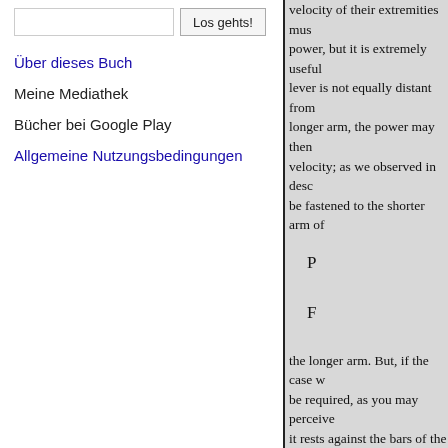Los gehts! [search box and button]
Über dieses Buch
Meine Mediathek
Bücher bei Google Play
Allgemeine Nutzungsbedingungen
velocity of their extremities mus power, but it is extremely useful lever is not equally distant from longer arm, the power may then velocity; as we observed in desc be fastened to the shorter arm of
P
F
the longer arm. But, if the case w be required, as you may perceive it rests against the bars of the gra the lever, is employed in lifting t longer arm, or acting part of the one common fulcrum; the point a which the power of the fingers is parts of the scissors are the resis points of the scissors, the more e cut, that part of the scissors near of a similar description, the grea